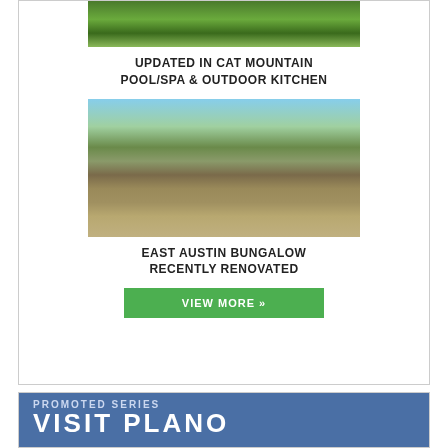[Figure (photo): Aerial or garden view with green foliage and stone wall at top]
UPDATED IN CAT MOUNTAIN
POOL/SPA & OUTDOOR KITCHEN
[Figure (photo): Exterior of an East Austin bungalow with iron fence, trees, and blue sky]
EAST AUSTIN BUNGALOW
RECENTLY RENOVATED
VIEW MORE »
[Figure (infographic): Promoted series banner with blue background reading 'PROMOTED SERIES' and 'VISIT PLANO']